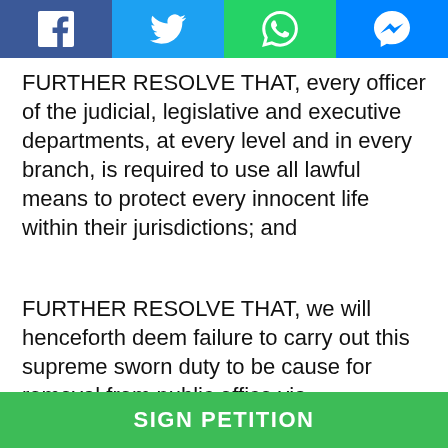[Figure (other): Social media sharing toolbar with Facebook, Twitter, WhatsApp, and Messenger buttons]
FURTHER RESOLVE THAT, every officer of the judicial, legislative and executive departments, at every level and in every branch, is required to use all lawful means to protect every innocent life within their jurisdictions; and
FURTHER RESOLVE THAT, we will henceforth deem failure to carry out this supreme sworn duty to be cause for removal from public office via impeachment or recall, or by statutory or electoral means, notwithstanding any law passed by any legislative body within the State of Texas, or the decision of any court, including the
SIGN PETITION